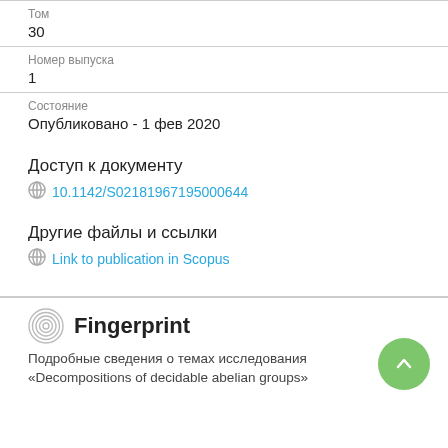Том
30
Номер выпуска
1
Состояние
Опубликовано - 1 фев 2020
Доступ к документу
10.1142/S02181967195000644
Другие файлы и ссылки
Link to publication in Scopus
Fingerprint
Подробные сведения о темах исследования «Decompositions of decidable abelian groups»